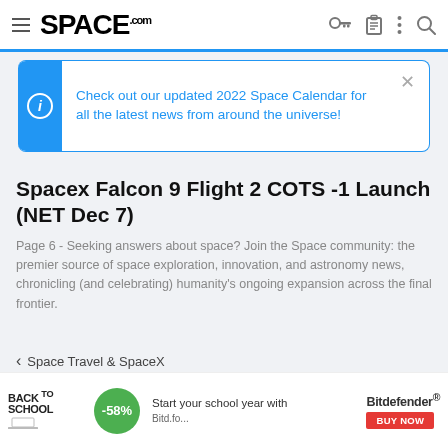SPACE.com
Check out our updated 2022 Space Calendar for all the latest news from around the universe!
Spacex Falcon 9 Flight 2 COTS -1 Launch (NET Dec 7)
Page 6 - Seeking answers about space? Join the Space community: the premier source of space exploration, innovation, and astronomy news, chronicling (and celebrating) humanity's ongoing expansion across the final frontier.
< Space Travel & SpaceX
[Figure (infographic): Back to School advertisement banner with -58% discount, Bitdefender logo and BUY NOW button]